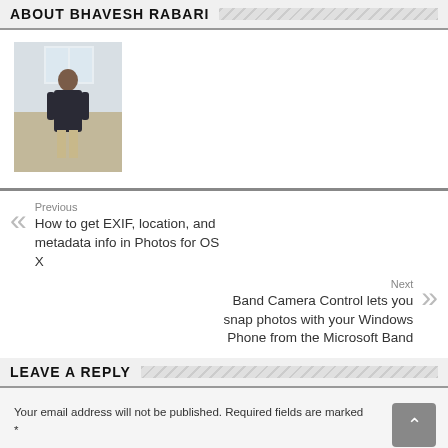ABOUT BHAVESH RABARI
[Figure (photo): Photo of Bhavesh Rabari standing in a room]
Previous
How to get EXIF, location, and metadata info in Photos for OS X
Next
Band Camera Control lets you snap photos with your Windows Phone from the Microsoft Band
LEAVE A REPLY
Your email address will not be published. Required fields are marked *